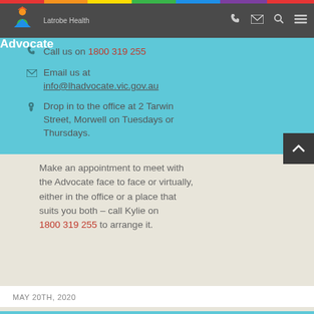Latrobe Health Advocate
You can reach the Latrobe Health Advocate Monday – Friday, from 9:00 am to 5:00 pm
Call us on 1800 319 255
Email us at info@lhadvocate.vic.gov.au
Drop in to the office at 2 Tarwin Street, Morwell on Tuesdays or Thursdays.
Make an appointment to meet with the Advocate face to face or virtually, either in the office or a place that suits you both – call Kylie on 1800 319 255 to arrange it.
MAY 20TH, 2020